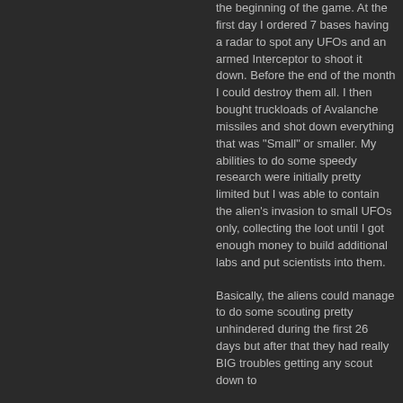the beginning of the game. At the first day I ordered 7 bases having a radar to spot any UFOs and an armed Interceptor to shoot it down. Before the end of the month I could destroy them all. I then bought truckloads of Avalanche missiles and shot down everything that was "Small" or smaller. My abilities to do some speedy research were initially pretty limited but I was able to contain the alien's invasion to small UFOs only, collecting the loot until I got enough money to build additional labs and put scientists into them.
Basically, the aliens could manage to do some scouting pretty unhindered during the first 26 days but after that they had really BIG troubles getting any scout down to